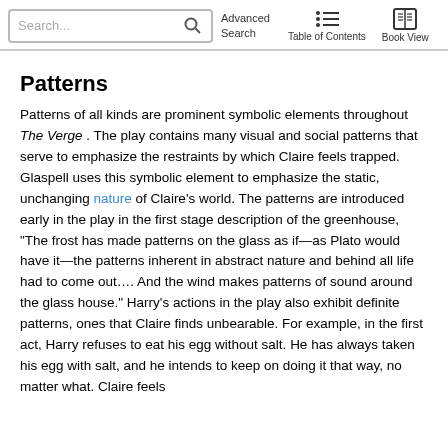Search... Advanced Search | Table of Contents | Book View
Patterns
Patterns of all kinds are prominent symbolic elements throughout The Verge . The play contains many visual and social patterns that serve to emphasize the restraints by which Claire feels trapped. Glaspell uses this symbolic element to emphasize the static, unchanging nature of Claire's world. The patterns are introduced early in the play in the first stage description of the greenhouse, "The frost has made patterns on the glass as if—as Plato would have it—the patterns inherent in abstract nature and behind all life had to come out.... And the wind makes patterns of sound around the glass house." Harry's actions in the play also exhibit definite patterns, ones that Claire finds unbearable. For example, in the first act, Harry refuses to eat his egg without salt. He has always taken his egg with salt, and he intends to keep on doing it that way, no matter what. Claire feels